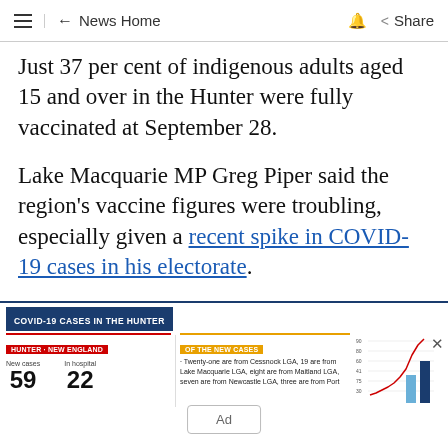News Home | Share
Just 37 per cent of indigenous adults aged 15 and over in the Hunter were fully vaccinated at September 28.
Lake Macquarie MP Greg Piper said the region's vaccine figures were troubling, especially given a recent spike in COVID-19 cases in his electorate.
[Figure (infographic): COVID-19 Cases in The Hunter infographic showing Hunter-New England region stats: New cases 59, In hospital 22. Of the new cases: Twenty-one are from Cessnock LGA, 19 are from Lake Macquarie LGA, eight are from Maitland LGA, seven are from Newcastle LGA, three are from Port... A line chart showing a spike in cases is visible on the right side.]
Ad